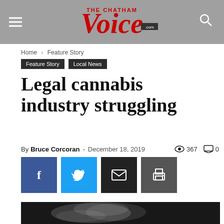The Chatham Voice
Home › Feature Story
Feature Story   Local News
Legal cannabis industry struggling
By Bruce Corcoran - December 18, 2019  367  0
[Figure (other): Social share buttons: Facebook, Twitter, Email, Print]
[Figure (photo): Dark background with white smoke/vapour cloud swirling in the center]